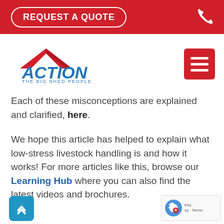REQUEST A QUOTE
[Figure (logo): Action — The Big Shed People logo with red roof/chevron graphic and blue text]
Each of these misconceptions are explained and clarified, here.
We hope this article has helped to explain what low-stress livestock handling is and how it works! For more articles like this, browse our Learning Hub where you can also find the latest videos and brochures.